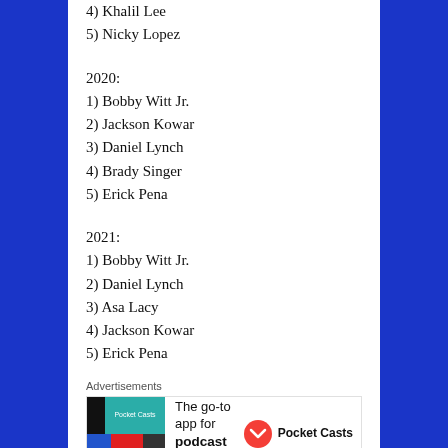4) Khalil Lee
5) Nicky Lopez
2020:
1) Bobby Witt Jr.
2) Jackson Kowar
3) Daniel Lynch
4) Brady Singer
5) Erick Pena
2021:
1) Bobby Witt Jr.
2) Daniel Lynch
3) Asa Lacy
4) Jackson Kowar
5) Erick Pena
Advertisements
[Figure (other): Pocket Casts advertisement: the go-to app for podcast lovers]
A couple of those names from 2021 might look